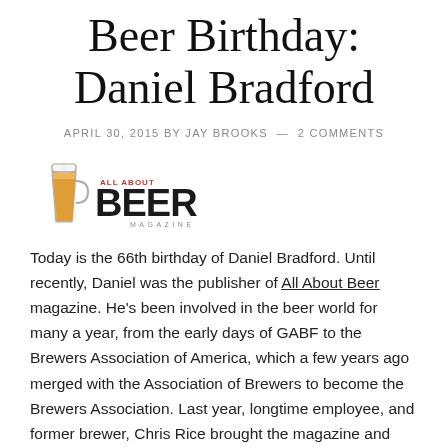Beer Birthday: Daniel Bradford
APRIL 30, 2015 BY JAY BROOKS — 2 COMMENTS
[Figure (logo): All About Beer Magazine logo with a beer glass illustration]
Today is the 66th birthday of Daniel Bradford. Until recently, Daniel was the publisher of All About Beer magazine. He's been involved in the beer world for many a year, from the early days of GABF to the Brewers Association of America, which a few years ago merged with the Association of Brewers to become the Brewers Association. Last year, longtime employee, and former brewer, Chris Rice brought the magazine and Daniel continues to the...